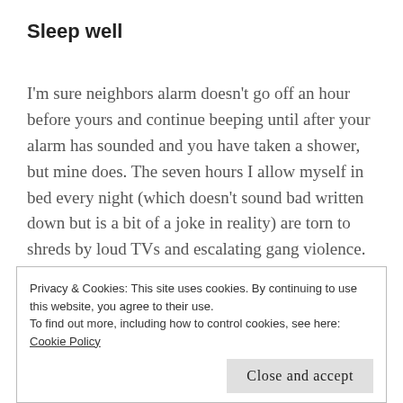Sleep well
I'm sure neighbors alarm doesn't go off an hour before yours and continue beeping until after your alarm has sounded and you have taken a shower, but mine does. The seven hours I allow myself in bed every night (which doesn't sound bad written down but is a bit of a joke in reality) are torn to shreds by loud TVs and escalating gang violence. Your disruptions are different but you don't have to suffer.
Privacy & Cookies: This site uses cookies. By continuing to use this website, you agree to their use.
To find out more, including how to control cookies, see here: Cookie Policy
Take naps throughout the day.